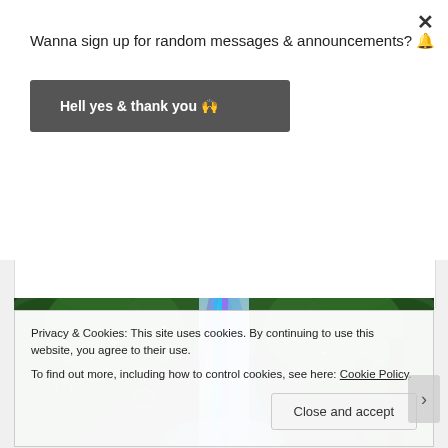Wanna sign up for random messages & announcements? 🔔
Hell yes & thank you 🙌
[Figure (photo): Colorful waterfall in a lush green forest with blue and purple light effects]
Privacy & Cookies: This site uses cookies. By continuing to use this website, you agree to their use. To find out more, including how to control cookies, see here: Cookie Policy
Close and accept